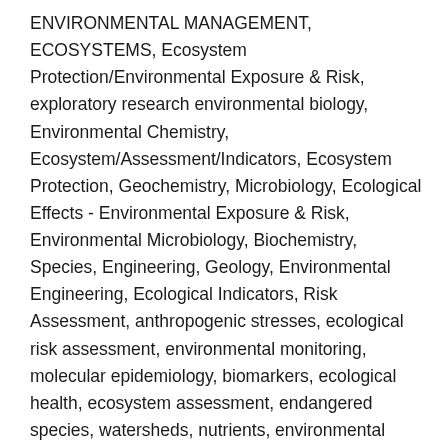ENVIRONMENTAL MANAGEMENT, ECOSYSTEMS, Ecosystem Protection/Environmental Exposure & Risk, exploratory research environmental biology, Environmental Chemistry, Ecosystem/Assessment/Indicators, Ecosystem Protection, Geochemistry, Microbiology, Ecological Effects - Environmental Exposure & Risk, Environmental Microbiology, Biochemistry, Species, Engineering, Geology, Environmental Engineering, Ecological Indicators, Risk Assessment, anthropogenic stresses, ecological risk assessment, environmental monitoring, molecular epidemiology, biomarkers, ecological health, ecosystem assessment, endangered species, watersheds, nutrients, environmental risks, Clear Lake, multiple stressors, ecosystem indicators, ecological assessment, environmental fate, environmental stress, lake ecosystem, sediment cores, watershed assessment, biomarker technology